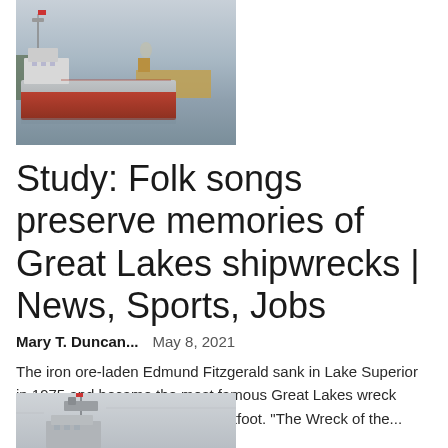[Figure (photo): A large iron ore freighter ship on water, reddish hull with white upper structure, second vessel visible behind, overcast sky]
Study: Folk songs preserve memories of Great Lakes shipwrecks | News, Sports, Jobs
Mary T. Duncan...    May 8, 2021
The iron ore-laden Edmund Fitzgerald sank in Lake Superior in 1975 and became the most famous Great Lakes wreck thanks to a song by Gordon Lightfoot. "The Wreck of the...
[Figure (photo): Partial view of a ship's upper structure with radar/communication equipment, misty/foggy background]